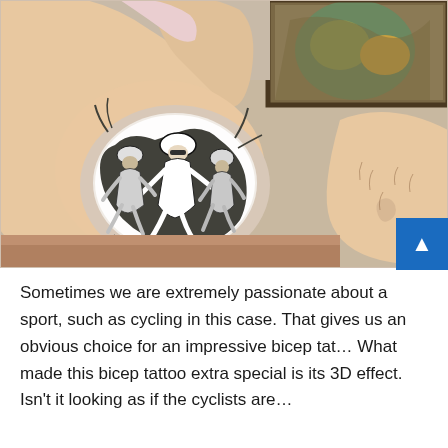[Figure (photo): A person flexing their arm showing a large black and white tattoo on their bicep depicting cyclists racing, with a 3D effect. The person is shirtless and photographed in a mirror. The background shows a wooden surface and a colorful painting or mirror frame in the upper right.]
Sometimes we are extremely passionate about a sport, such as cycling in this case. That gives us an obvious choice for an impressive bicep tat… What made this bicep tattoo extra special is its 3D effect. Isn't it looking as if the cyclists are…